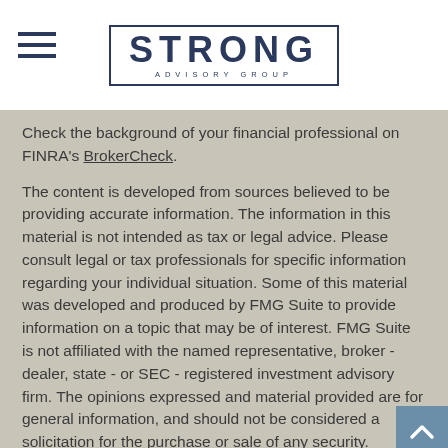STRONG ADVISORY GROUP
Check the background of your financial professional on FINRA's BrokerCheck.
The content is developed from sources believed to be providing accurate information. The information in this material is not intended as tax or legal advice. Please consult legal or tax professionals for specific information regarding your individual situation. Some of this material was developed and produced by FMG Suite to provide information on a topic that may be of interest. FMG Suite is not affiliated with the named representative, broker - dealer, state - or SEC - registered investment advisory firm. The opinions expressed and material provided are for general information, and should not be considered a solicitation for the purchase or sale of any security.
We take protecting your data and privacy very seriously.